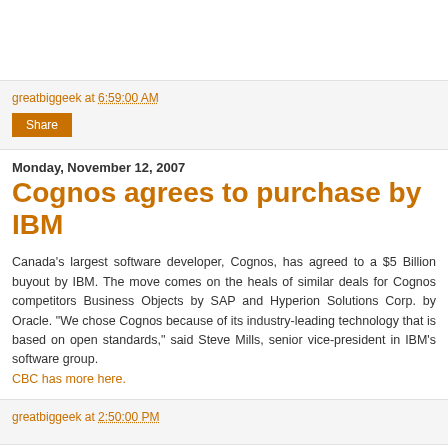greatbiggeek at 6:59:00 AM
Share
Monday, November 12, 2007
Cognos agrees to purchase by IBM
Canada's largest software developer, Cognos, has agreed to a $5 Billion buyout by IBM. The move comes on the heals of similar deals for Cognos competitors Business Objects by SAP and Hyperion Solutions Corp. by Oracle. "We chose Cognos because of its industry-leading technology that is based on open standards," said Steve Mills, senior vice-president in IBM's software group. CBC has more here.
greatbiggeek at 2:50:00 PM